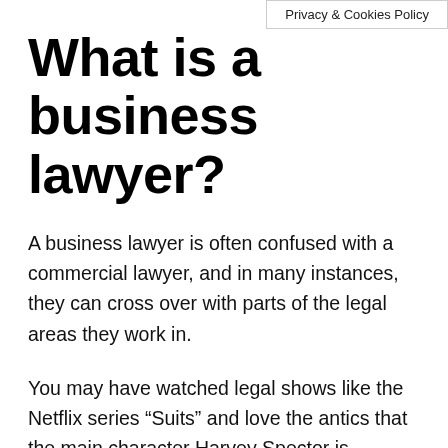Privacy & Cookies Policy
What is a business lawyer?
A business lawyer is often confused with a commercial lawyer, and in many instances, they can cross over with parts of the legal areas they work in.
You may have watched legal shows like the Netflix series “Suits” and love the antics that the main character Harvey Spector is involved in. Truthfuly you can see that this is nothing like a typical business, corporate or commercial law